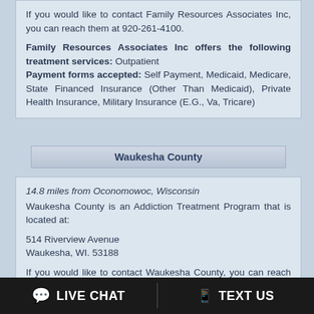If you would like to contact Family Resources Associates Inc, you can reach them at 920-261-4100.
Family Resources Associates Inc offers the following treatment services: Outpatient Payment forms accepted: Self Payment, Medicaid, Medicare, State Financed Insurance (Other Than Medicaid), Private Health Insurance, Military Insurance (E.G., Va, Tricare)
Waukesha County
14.8 miles from Oconomowoc, Wisconsin
Waukesha County is an Addiction Treatment Program that is located at:
514 Riverview Avenue
Waukesha, WI. 53188
If you would like to contact Waukesha County, you can reach them at 262-548-7666.
Waukesha County offers the following treatment services:
LIVE CHAT   TEXT US